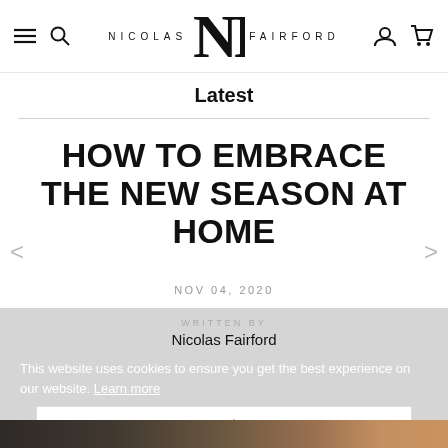NICOLAS NF FAIRFORD [navigation bar with hamburger, search, user, cart icons]
Latest
HOW TO EMBRACE THE NEW SEASON AT HOME
NOV 04, 2020
WRITTEN BY
Nicolas Fairford
This website uses cookies to ensure you get the best experience on our website. Learn more
Got it!
[Figure (photo): Bottom strip showing a dark room interior with home decor items]